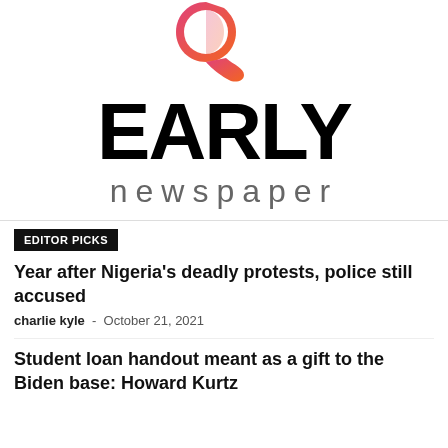[Figure (logo): Early Newspaper logo with a stylized quotation mark icon in pink-to-orange gradient above bold black 'EARLY' text and gray 'newspaper' text below]
EDITOR PICKS
Year after Nigeria's deadly protests, police still accused
charlie kyle - October 21, 2021
Student loan handout meant as a gift to the Biden base: Howard Kurtz